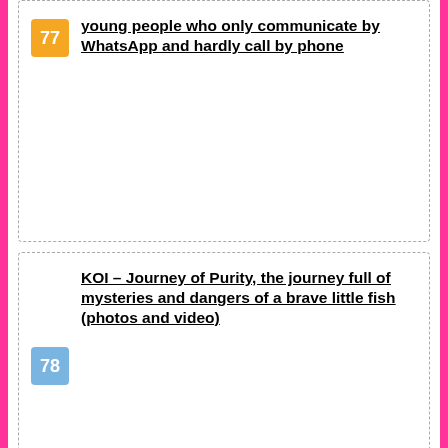77 young people who only communicate by WhatsApp and hardly call by phone
78 KOI – Journey of Purity, the journey full of mysteries and dangers of a brave little fish (photos and video)
79 The call for entries for the Brand Award 2010 is running
80 Call of Duty – Won't there be a battle royale in this year's set?